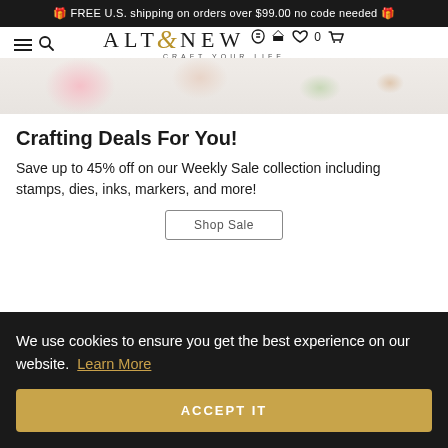🎁 FREE U.S. shipping on orders over $99.00 no code needed 🎁
[Figure (logo): Altenew logo with hamburger menu and search icon on left, user/wishlist/cart icons on right. Logo reads ALTENEW with stylized ampersand-E in gold, subtitle CRAFT YOUR LIFE]
[Figure (photo): Horizontal strip showing crafting supplies - floral papers, ink pads, and craft materials in pastel colors]
Crafting Deals For You!
Save up to 45% off on our Weekly Sale collection including stamps, dies, inks, markers, and more!
Shop Sale
We use cookies to ensure you get the best experience on our website.  Learn More
ACCEPT IT